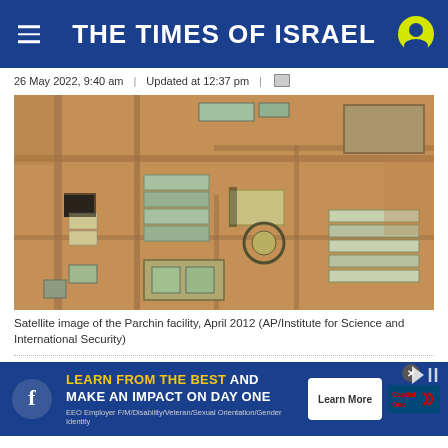THE TIMES OF ISRAEL
26 May 2022, 9:40 am  |  Updated at 12:37 pm  |
[Figure (photo): Satellite aerial image of the Parchin military facility in Iran, showing buildings, warehouses, and roads in a desert landscape, April 2012.]
Satellite image of the Parchin facility, April 2012 (AP/Institute for Science and International Security)
[Figure (screenshot): Advertisement banner: LEARN FROM THE BEST AND MAKE AN IMPACT ON DAY ONE. Learn More button. Capital One logo. EEO Employer F/M/Disability/Veteran/Sexual Orientation/Gender Identity.]